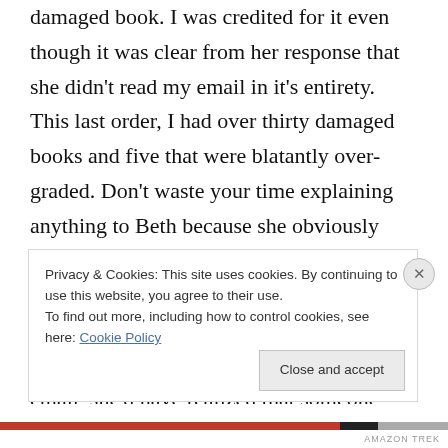damaged book. I was credited for it even though it was clear from her response that she didn't read my email in it's entirety. This last order, I had over thirty damaged books and five that were blatantly over-graded. Don't waste your time explaining anything to Beth because she obviously doesn't have the time to go in-depth and will tell you that you simply have the option to send them back for a refund. Alrighty then, I guess I will. IF she read my email, she'd have realized that someone dropped two of the four
Privacy & Cookies: This site uses cookies. By continuing to use this website, you agree to their use.
To find out more, including how to control cookies, see here: Cookie Policy
Close and accept